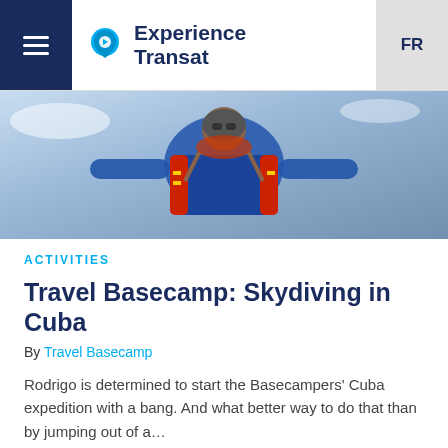Experience Transat | FR
[Figure (photo): Skydiver in blue and red jumpsuit equipment against sky background, close-up aerial photo]
ACTIVITIES
Travel Basecamp: Skydiving in Cuba
By Travel Basecamp
Rodrigo is determined to start the Basecampers' Cuba expedition with a bang. And what better way to do that than by jumping out of a...
#ACTIVITIES, #CUBA, #SOUTH, #TRAVELBASECAMP